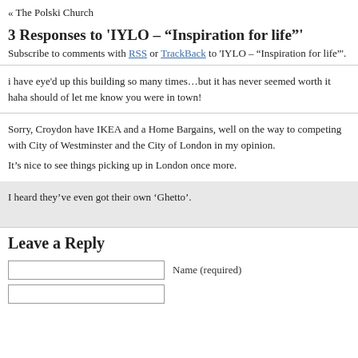« The Polski Church
3 Responses to 'IYLO – "Inspiration for life"'
Subscribe to comments with RSS or TrackBack to 'IYLO – "Inspiration for life"'.
i have eye'd up this building so many times…but it has never seemed worth it haha should of let me know you were in town!
Sorry, Croydon have IKEA and a Home Bargains, well on the way to competing with City of Westminster and the City of London in my opinion.

It's nice to see things picking up in London once more.
I heard they've even got their own 'Ghetto'.
Leave a Reply